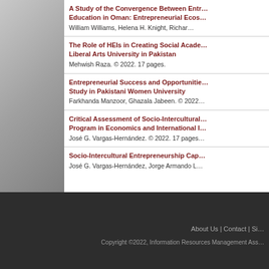A Study of the Convergence Between Entrepreneurship and Education in Oman: Entrepreneurial Ecos... — William Williams, Helena H. Knight, Richar...
The Role of HEIs in Creating Social Acade... Liberal Arts University in Pakistan — Mehwish Raza. © 2022. 17 pages.
Entrepreneurial Success and Opportunitie... Study in Pakistani Women University — Farkhanda Manzoor, Ghazala Jabeen. © 2022...
Critical Assessment of Socio-Intercultural... Program in Economics and International I... — José G. Vargas-Hernández. © 2022. 17 pages...
Socio-Intercultural Entrepreneurship Cap... — José G. Vargas-Hernández, Jorge Armando L...
About Us | Contact | Si... Copyright ©2022, Information Resources Management Ass...